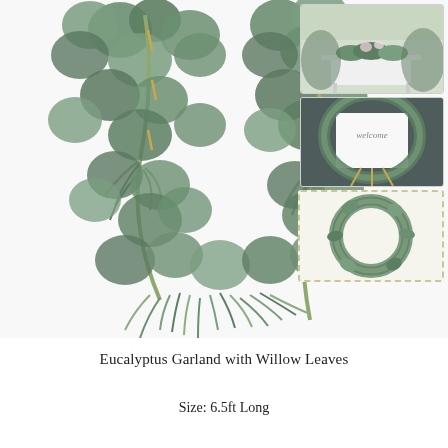[Figure (photo): Main product photo: two eucalyptus garlands with willow leaves forming a U-shape, showing round eucalyptus leaves and narrow willow-like leaves in green and sage tones on white background]
[Figure (photo): Side image 1: wedding table decorated with eucalyptus garland greenery, white tablecloth, floral centerpieces outdoors]
[Figure (photo): Side image 2: a welcome sign on an easel decorated with eucalyptus garland wreath arch]
[Figure (photo): Side image 3 (dashed border): eucalyptus and greenery wreath on white background]
Eucalyptus Garland with Willow Leaves
Size: 6.5ft Long